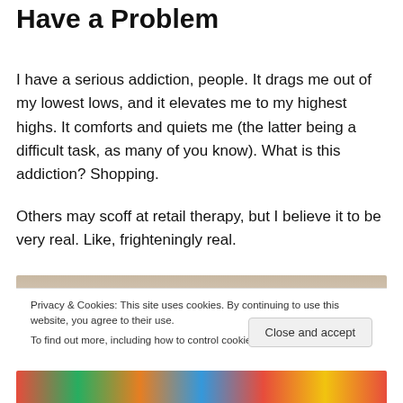Have a Problem
I have a serious addiction, people. It drags me out of my lowest lows, and it elevates me to my highest highs. It comforts and quiets me (the latter being a difficult task, as many of you know). What is this addiction? Shopping.
Others may scoff at retail therapy, but I believe it to be very real. Like, frighteningly real.
[Figure (photo): Partial image with beige/tan gradient background visible at top]
Privacy & Cookies: This site uses cookies. By continuing to use this website, you agree to their use.
To find out more, including how to control cookies, see here: Cookie Policy
[Figure (photo): Colorful shopping bags at the bottom of the page]